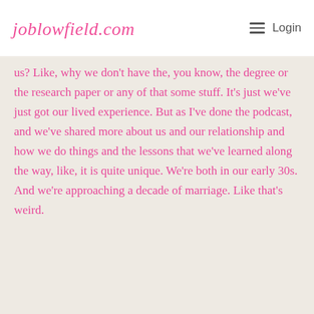joblowfield.com
us? Like, why we don't have the, you know, the degree or the research paper or any of that some stuff. It's just we've just got our lived experience. But as I've done the podcast, and we've shared more about us and our relationship and how we do things and the lessons that we've learned along the way, like, it is quite unique. We're both in our early 30s. And we're approaching a decade of marriage. Like that's weird.